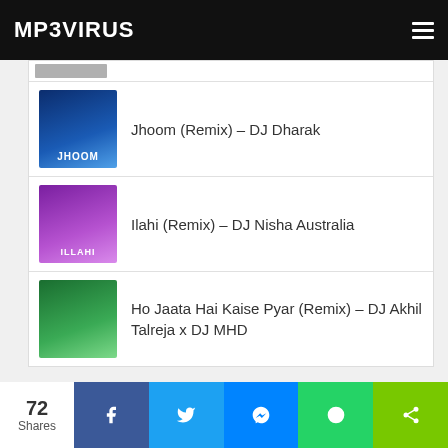MP3VIRUS
Jhoom (Remix) – DJ Dharak
Ilahi (Remix) – DJ Nisha Australia
Ho Jaata Hai Kaise Pyar (Remix) – DJ Akhil Talreja x DJ MHD
72 Shares